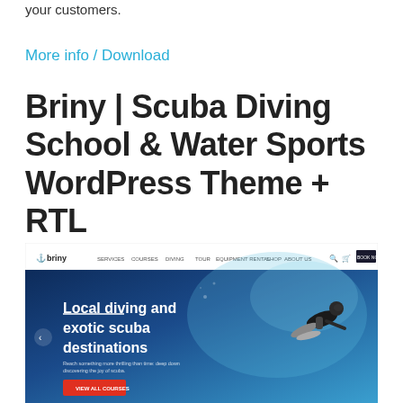your customers.
More info / Download
Briny | Scuba Diving School & Water Sports WordPress Theme + RTL
[Figure (screenshot): Screenshot of the Briny WordPress theme homepage showing a navigation bar with logo and menu items, and a hero section with a scuba diver underwater. Hero text reads 'Local diving and exotic scuba destinations' with a 'VIEW ALL COURSES' red button.]